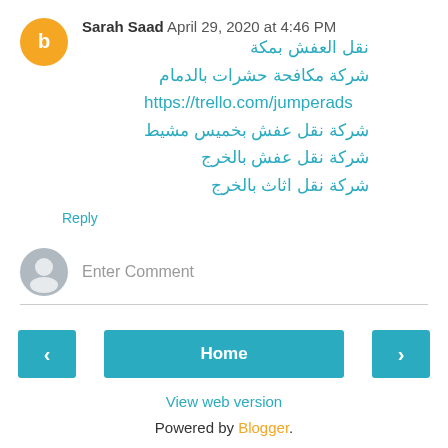Sarah Saad April 29, 2020 at 4:46 PM
نقل العفش بمكة
شركة مكافحة حشرات بالدمام
https://trello.com/jumperads
شركة نقل عفش بخميس مشيط
شركة نقل عفش بالخرج
شركة نقل اثاث بالخرج
Reply
Enter Comment
Home
View web version
Powered by Blogger.